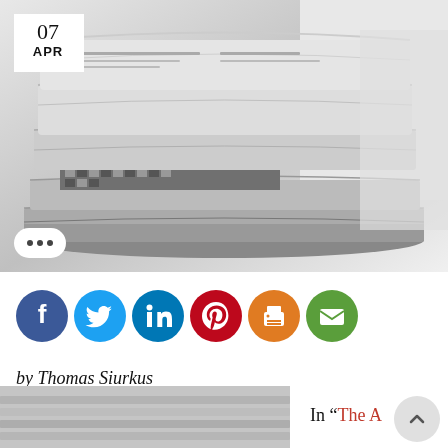[Figure (photo): Stack of folded newspapers photographed close-up in black and white tones, with a white date badge overlay showing '07 APR' in the top-left corner.]
[Figure (infographic): Row of six circular social media share icons: Facebook (blue), Twitter (light blue), LinkedIn (blue), Pinterest (red), Print (orange), Email (green).]
by Thomas Siurkus
[Figure (photo): Partial thumbnail image of newspapers at the bottom left.]
In “The A